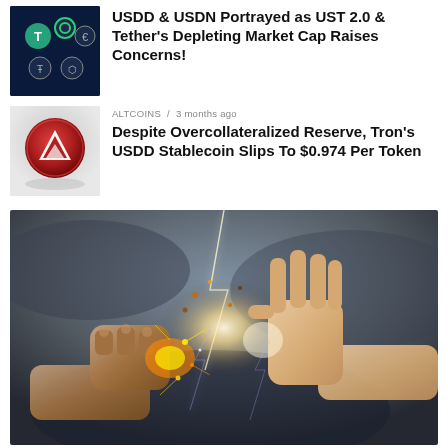[Figure (illustration): Crypto stablecoin icons on dark blue background thumbnail]
USDD & USDN Portrayed as UST 2.0 & Tether's Depleting Market Cap Raises Concerns!
[Figure (photo): Red Tron coin on reflective surface thumbnail]
ALTCOINS / 3 months ago
Despite Overcollateralized Reserve, Tron's USDD Stablecoin Slips To $0.974 Per Token
[Figure (photo): Dramatic photo of a fist and an open hand meeting with fire and lightning sparks against a stormy sky background]